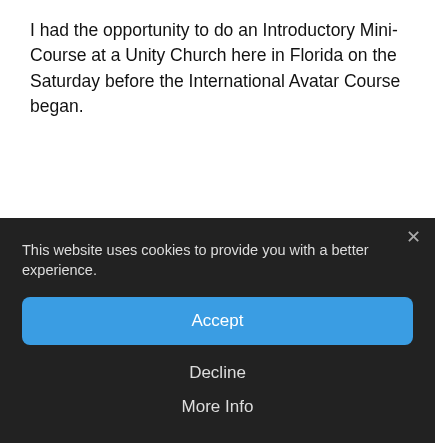I had the opportunity to do an Introductory Mini-Course at a Unity Church here in Florida on the Saturday before the International Avatar Course began.
[Figure (screenshot): Cookie consent overlay on a dark background with Accept, Decline, and More Info buttons, and an X close button. Message reads: 'This website uses cookies to provide you with a better experience.']
It was neat to see the power of the Sangha, the family. As a result three board members came to the course. One is already signed up for the Masters Course and another went home to get his wife, so she begins the ReSurfacing Course